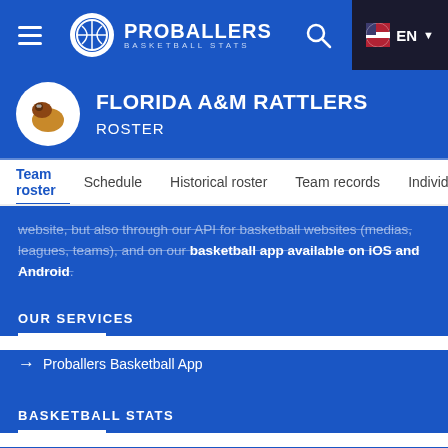PROBALLERS BASKETBALL STATS — EN
FLORIDA A&M RATTLERS ROSTER
Team roster | Schedule | Historical roster | Team records | Individual records
website, but also through our API for basketball websites (medias, leagues, teams), and on our basketball app available on iOS and Android.
OUR SERVICES
Proballers Basketball App
BASKETBALL STATS
Leagues we cover
About Proballers